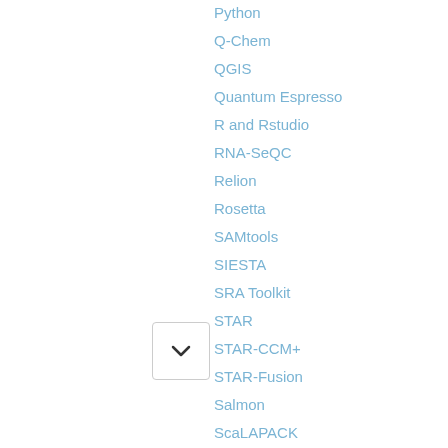Python
Q-Chem
QGIS
Quantum Espresso
R and Rstudio
RNA-SeQC
Relion
Rosetta
SAMtools
SIESTA
SRA Toolkit
STAR
STAR-CCM+
STAR-Fusion
Salmon
ScaLAPACK
Schrodinger
Scipion